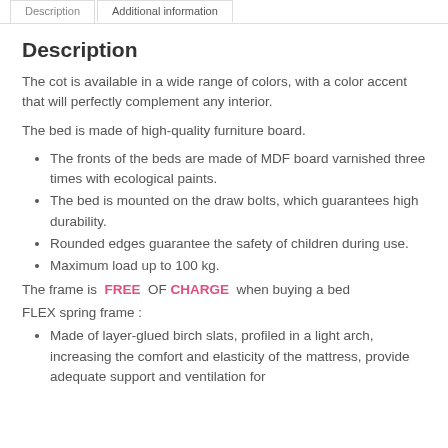Description | Additional information
Description
The cot is available in a wide range of colors, with a color accent that will perfectly complement any interior.
The bed is made of high-quality furniture board.
The fronts of the beds are made of MDF board varnished three times with ecological paints.
The bed is mounted on the draw bolts, which guarantees high durability.
Rounded edges guarantee the safety of children during use.
Maximum load up to 100 kg.
The frame is FREE OF CHARGE when buying a bed
FLEX spring frame :
Made of layer-glued birch slats, profiled in a light arch, increasing the comfort and elasticity of the mattress, provide adequate support and ventilation for